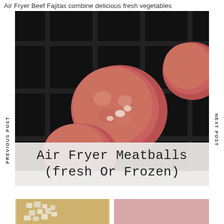Air Fryer Beef Fajitas combine delicious fresh vegetables
[Figure (photo): Raw meatballs cooking in a black air fryer basket, close-up overhead view]
PREVIOUS POST
NEXT POST
Air Fryer Meatballs (fresh Or Frozen)
[Figure (photo): Two side-by-side photos: diced onions on a cutting board (left) and raw ground meat (right)]